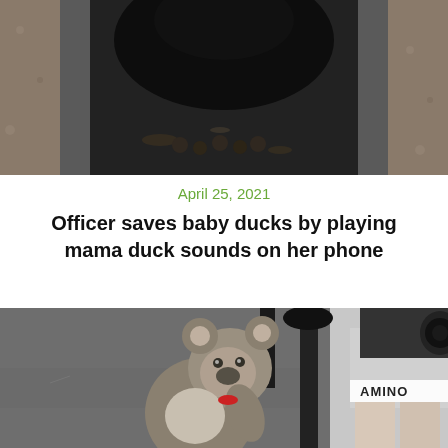[Figure (photo): Top-down view of baby ducks in a concrete drain/gutter, dark image showing small ducklings clustered together]
April 25, 2021
Officer saves baby ducks by playing mama duck sounds on her phone
[Figure (photo): A koala bear standing against a bicycle, leaning on the bike frame near a cyclist's legs. The cyclist is wearing shorts with 'AMINO' visible on them.]